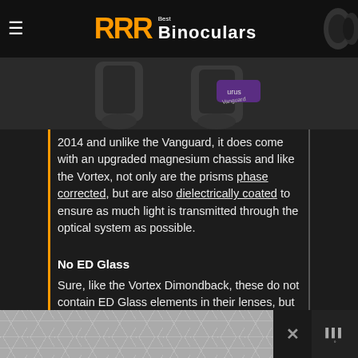RRR Best Binoculars
[Figure (photo): Binocular product images shown in a dark strip at the top of the content area]
2014 and unlike the Vanguard, it does come with an upgraded magnesium chassis and like the Vortex, not only are the prisms phase corrected, but are also dielectrically coated to ensure as much light is transmitted through the optical system as possible.
No ED Glass
Sure, like the Vortex Dimondback, these do not contain ED Glass elements in their lenses, but as I have already said I have often observed well designed non ED glass bins perform as well than instruments with ED glass at reducing color fringing. Indeed in some cases (especially in the lower price brackets) they outperform them. So for
[Figure (other): Footer with geometric hexagon/cube pattern tile and close button]